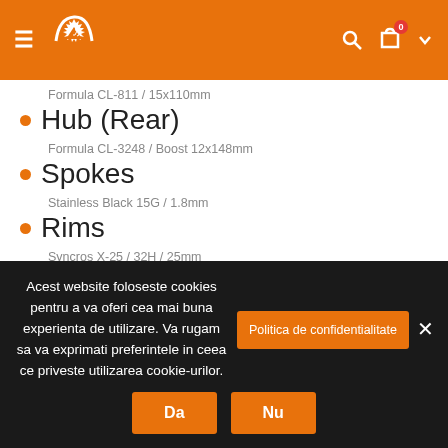Navigation header with logo and icons
Formula CL-811 / 15x110mm
Hub (Rear)
Formula CL-3248 / Boost 12x148mm
Spokes
Stainless Black 15G / 1.8mm
Rims
Syncros X-25 / 32H / 25mm
Front Tire
Acest website foloseste cookies pentru a va oferi cea mai buna experienta de utilizare. Va rugam sa va exprimati preferintele in ceea ce priveste utilizarea cookie-urilor.
Politica de confidentialitate
Da
Nu